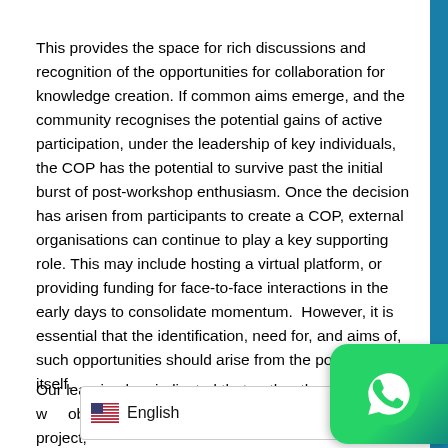This provides the space for rich discussions and recognition of the opportunities for collaboration for knowledge creation. If common aims emerge, and the community recognises the potential gains of active participation, under the leadership of key individuals, the COP has the potential to survive past the initial burst of post-workshop enthusiasm. Once the decision has arisen from participants to create a COP, external organisations can continue to play a key supporting role. This may include hosting a virtual platform, or providing funding for face-to-face interactions in the early days to consolidate momentum.  However, it is essential that the identification, need for, and aims of, such opportunities should arise from the potential COP itself.
Our learning has indicated that, rather than setting out with obj[ectives to create a CO]P through a research project,